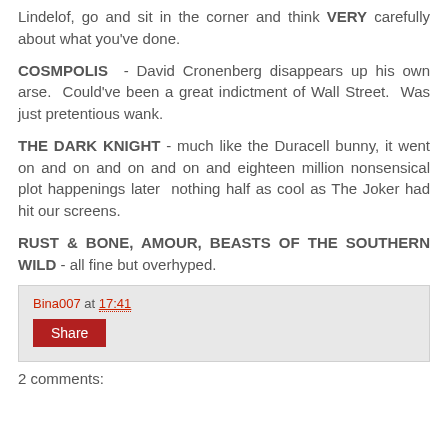Lindelof, go and sit in the corner and think VERY carefully about what you've done.
COSMPOLIS - David Cronenberg disappears up his own arse. Could've been a great indictment of Wall Street. Was just pretentious wank.
THE DARK KNIGHT - much like the Duracell bunny, it went on and on and on and on and eighteen million nonsensical plot happenings later nothing half as cool as The Joker had hit our screens.
RUST & BONE, AMOUR, BEASTS OF THE SOUTHERN WILD - all fine but overhyped.
Bina007 at 17:41
Share
2 comments: